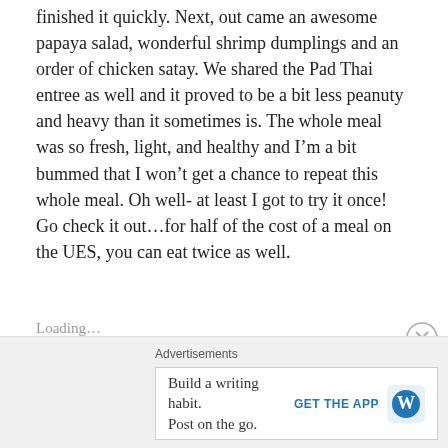finished it quickly. Next, out came an awesome papaya salad, wonderful shrimp dumplings and an order of chicken satay. We shared the Pad Thai entree as well and it proved to be a bit less peanuty and heavy than it sometimes is. The whole meal was so fresh, light, and healthy and I'm a bit bummed that I won't get a chance to repeat this whole meal. Oh well- at least I got to try it once! Go check it out…for half of the cost of a meal on the UES, you can eat twice as well.
Loading…
Advertisements
Build a writing habit. Post on the go.
GET THE APP